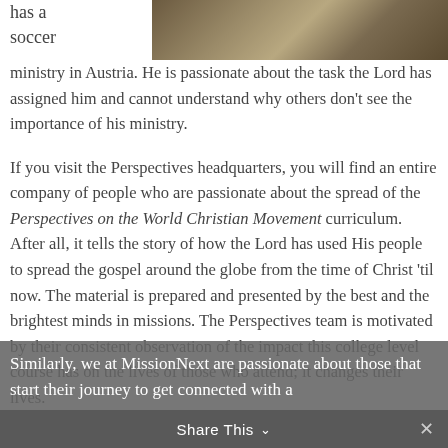[Figure (photo): Outdoor rocky/nature scene photograph at top right of page]
has a soccer
ministry in Austria. He is passionate about the task the Lord has assigned him and cannot understand why others don't see the importance of his ministry.

If you visit the Perspectives headquarters, you will find an entire company of people who are passionate about the spread of the Perspectives on the World Christian Movement curriculum. After all, it tells the story of how the Lord has used His people to spread the gospel around the globe from the time of Christ 'til now. The material is prepared and presented by the best and the brightest minds in missions. The Perspectives team is motivated by their consistent observation of the impact this college level course has on the lives of those who attend; it changes their lives.
Similarly, we at MissionNext are passionate about those that start their journey to get connected with a
Share This